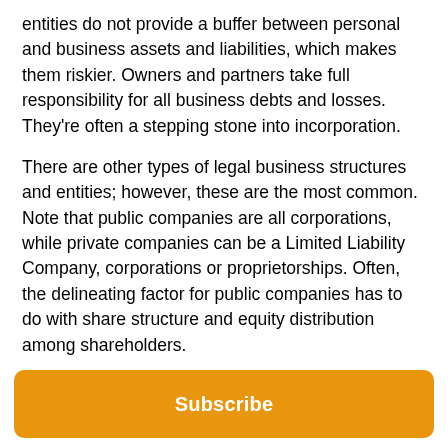entities do not provide a buffer between personal and business assets and liabilities, which makes them riskier. Owners and partners take full responsibility for all business debts and losses. They're often a stepping stone into incorporation.
There are other types of legal business structures and entities; however, these are the most common. Note that public companies are all corporations, while private companies can be a Limited Liability Company, corporations or proprietorships. Often, the delineating factor for public companies has to do with share structure and equity distribution among shareholders.
How to Form an LLC
Forming a Limited Liability Company is something anyone can do. Individuals can form a Limited Liability
Subscribe